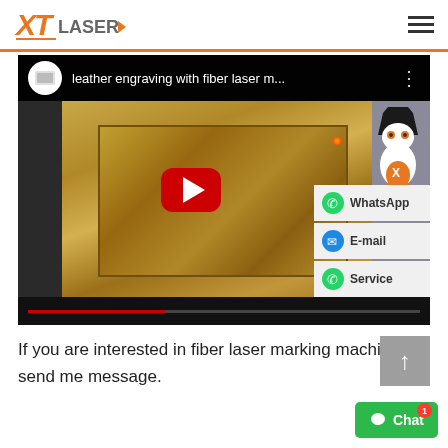XTLaser
[Figure (screenshot): YouTube video thumbnail showing 'leather engraving with fiber laser m...' with a play button overlay. The video shows a leather piece being engraved by a fiber laser machine, with a dark metal frame visible. The XT Laser mascot robot is shown in the top right corner.]
If you are interested in fiber laser marking machine, send me message.